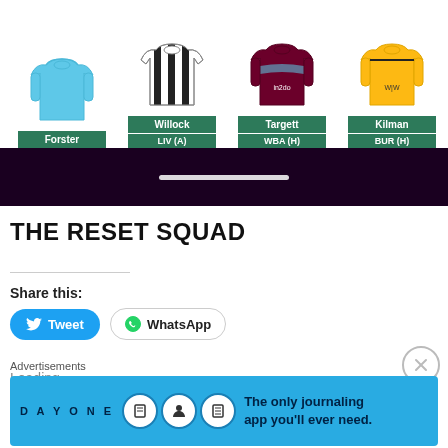[Figure (illustration): Four football player jersey cards: Forster (light blue goalkeeper kit), Willock (black and white striped kit, LIV A), Targett (claret and blue kit, WBA H), Kilman (gold kit, BUR H). Each has a green name badge and match badge below.]
[Figure (other): Dark purple navigation/scroll bar with white scroll indicator pill]
THE RESET SQUAD
Share this:
[Figure (other): Tweet button (blue rounded, Twitter bird icon) and WhatsApp button (outlined rounded, WhatsApp icon)]
Loading...
Advertisements
[Figure (other): DAY ONE journaling app advertisement banner — light blue background with icons and text: The only journaling app you'll ever need.]